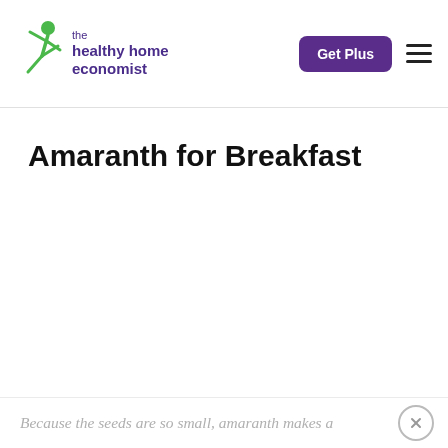the healthy home economist | Get Plus
Amaranth for Breakfast
Because the seeds are so small, amaranth makes a